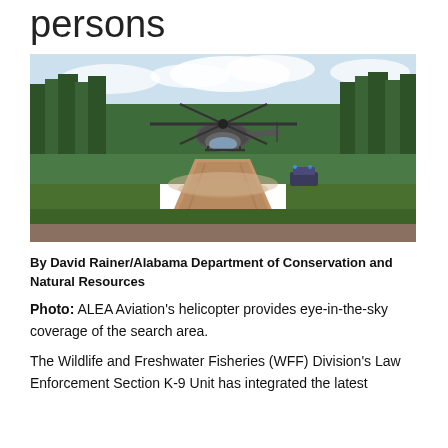persons
[Figure (photo): Helicopter flying low over a dirt road in a forested area with a police vehicle visible in the background and dust kicked up beneath the helicopter.]
By David Rainer/Alabama Department of Conservation and Natural Resources
Photo: ALEA Aviation's helicopter provides eye-in-the-sky coverage of the search area.
The Wildlife and Freshwater Fisheries (WFF) Division's Law Enforcement Section K-9 Unit has integrated the latest